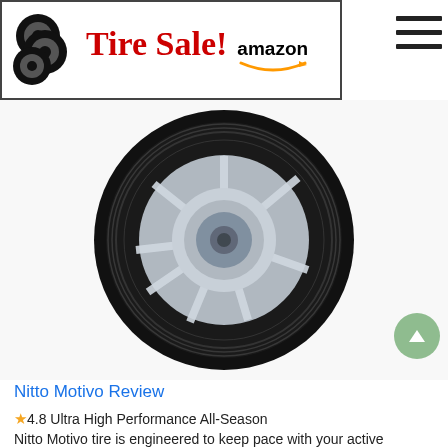[Figure (logo): Tire Sale! banner with stacked tire icons on the left, red bold serif 'Tire Sale!' text, Amazon logo with smile arrow underneath, all within a bordered rectangle]
[Figure (photo): A Nitto Motivo tire mounted on a silver multi-spoke alloy wheel, photographed at an angle showing the tread pattern and sidewall, on a white background]
Nitto Motivo Review
★4.8 Ultra High Performance All-Season
Nitto Motivo tire is engineered to keep pace with your active lifestyle.
Available tire sizes that fit BMW ActiveHybrid 7: